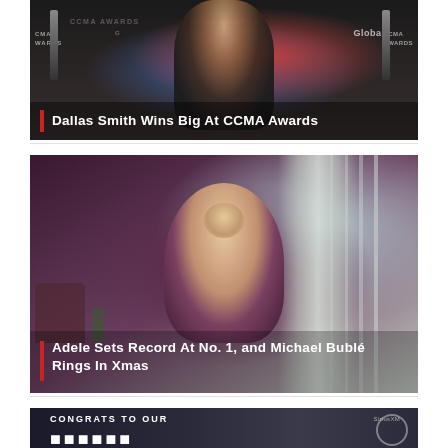[Figure (photo): Dallas Smith at CCMA Awards event, holding awards, with backdrop showing CCMA AWARDS and Global logos. Overlay text reads Dallas Smith Wins Big At CCMA Awards.]
[Figure (photo): Michael Bublé smiling in a dark maroon suit, seated in a room with curtains and furniture. Overlay text reads Adele Sets Record At No. 1, and Michael Bublé Rings In Xmas.]
[Figure (photo): Banner reading CONGRATS TO OUR with large text below, SiriusXM logo visible on right side.]